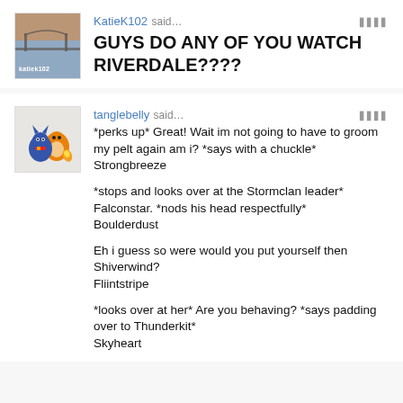[Figure (screenshot): Social media / blog comment thread screenshot showing two user posts with avatars]
KatieK102 said… GUYS DO ANY OF YOU WATCH RIVERDALE????
tanglebelly said… *perks up* Great! Wait im not going to have to groom my pelt again am i? *says with a chuckle* Strongbreeze

*stops and looks over at the Stormclan leader* Falconstar. *nods his head respectfully* Boulderdust

Eh i guess so were would you put yourself then Shiverwind? Fliintstripe

*looks over at her* Are you behaving? *says padding over to Thunderkit* Skyheart